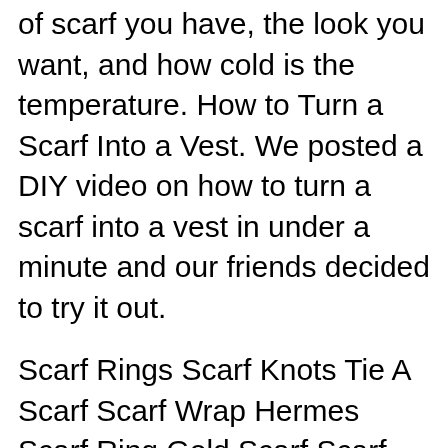of scarf you have, the look you want, and how cold is the temperature. How to Turn a Scarf Into a Vest. We posted a DIY video on how to turn a scarf into a vest in under a minute and our friends decided to try it out.
Scarf Rings Scarf Knots Tie A Scarf Scarf Wrap Hermes Scarf Ring Gold Scarf Scarf Necklace Sac Kelly Hermes Scarves Reverse Collier Knot (Loose Drape Knot)вЂ“MaiTai's Picture Book: Sunflowers in Provence. Felicia Nuth. Boss Lady. What to Wear in Italy and Switzerland. Travel Wear Travel Capsule Travel Packing Travel Style Europe Packing Travel Tips Travel Wardrobe Capsule Wardrobe вЂ¦ Be sure to form